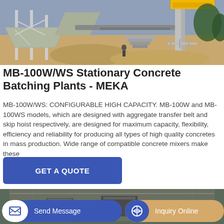[Figure (photo): Outdoor photo of MB-100W/WS stationary concrete batching plant with steel framework, conveyor belts, aggregate hoppers, and construction site surroundings.]
MB-100W/WS Stationary Concrete Batching Plants - MEKA
MB-100W/WS: CONFIGURABLE HIGH CAPACITY. MB-100W and MB-100WS models, which are designed with aggregate transfer belt and skip hoist respectively, are designed for maximum capacity, flexibility, efficiency and reliability for producing all types of high quality concretes in mass production. Wide range of compatible concrete mixers make these
[Figure (other): Blue GET A QUOTE button]
[Figure (photo): Bottom partial photo of indoor industrial concrete batching equipment.]
[Figure (other): Footer bar with Send Message and Inquiry Online buttons]